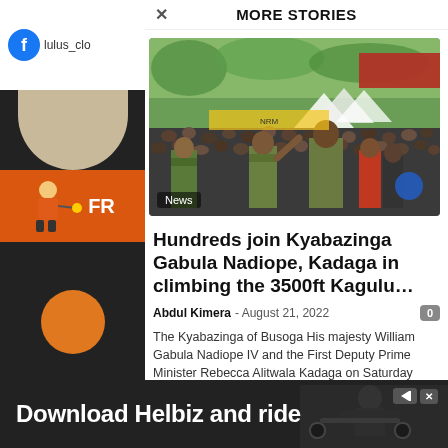MORE STORIES
[Figure (photo): Outdoor public gathering with a large crowd; people in military and civilian clothes waving to the crowd at what appears to be a public event in Uganda]
Hundreds join Kyabazinga Gabula Nadiope, Kadaga in climbing the 3500ft Kagulu…
Abdul Kimera - August 21, 2022
The Kyabazinga of Busoga His majesty William Gabula Nadiope IV and the First Deputy Prime Minister Rebecca Alitwala Kadaga on Saturday competed in…
[Figure (photo): Advertisement banner: Download Helbiz and ride — shows a person with a scooter/bicycle]